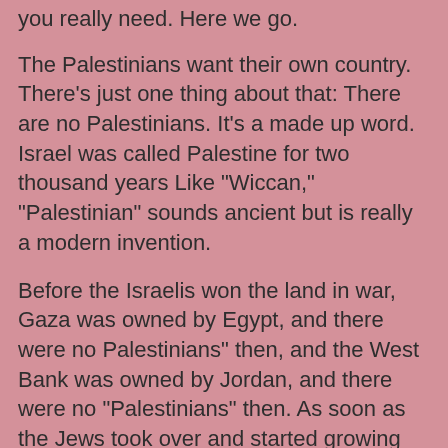you really need. Here we go.
The Palestinians want their own country. There's just one thing about that: There are no Palestinians. It's a made up word. Israel was called Palestine for two thousand years Like "Wiccan," "Palestinian" sounds ancient but is really a modern invention.
Before the Israelis won the land in war, Gaza was owned by Egypt, and there were no Palestinians" then, and the West Bank was owned by Jordan, and there were no "Palestinians" then. As soon as the Jews took over and started growing oranges as big as basketballs, what do you know, say hello to the Palestinians," weeping for Their deep bond with their lost "land" and "nation."
So for the sake of honesty, let's not use the word "Palestinian" any more to describe these delightful folks, who dance for joy at our deaths until someone points out they're being taped. Instead, let's call them what they are: "Other